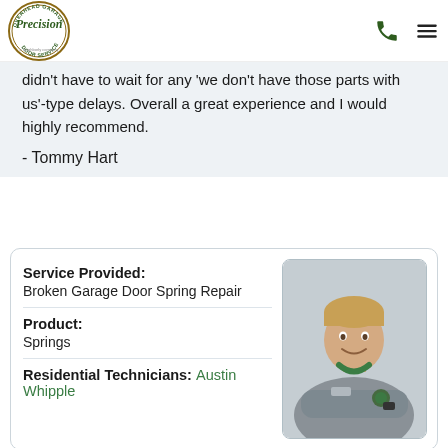[Figure (logo): Precision Overhead Garage Door Service logo - circular badge with company name]
didn't have to wait for any 'we don't have those parts with us'-type delays. Overall a great experience and I would highly recommend.
- Tommy Hart
| Service Provided: | Broken Garage Door Spring Repair |
| Product: | Springs |
| Residential Technicians: | Austin Whipple |
[Figure (photo): Photo of Austin Whipple, a technician in a gray uniform sitting in a vehicle, smiling at camera]